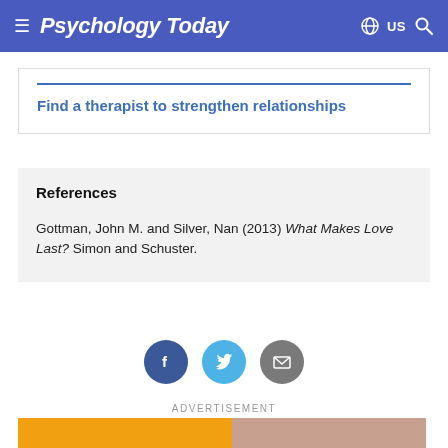Psychology Today
Find a therapist to strengthen relationships
References
Gottman, John M. and Silver, Nan (2013) What Makes Love Last? Simon and Schuster.
[Figure (infographic): Social sharing icons: Facebook (dark blue circle with f), Twitter (light blue circle with bird), Email (gray circle with envelope)]
ADVERTISEMENT